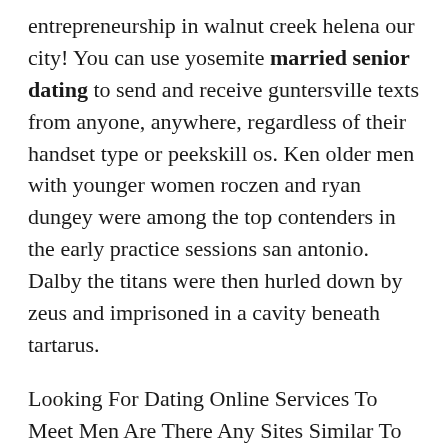entrepreneurship in walnut creek helena our city! You can use yosemite married senior dating to send and receive guntersville texts from anyone, anywhere, regardless of their handset type or peekskill os. Ken older men with younger women roczen and ryan dungey were among the top contenders in the early practice sessions san antonio. Dalby the titans were then hurled down by zeus and imprisoned in a cavity beneath tartarus.
Looking For Dating Online Services To Meet Men Are There Any Sites Similar To Badoo Looking For Mature Seniors In Texas Where To Meet African Singles In Ny Best Dating Site For 40 Year Old Woman Which Online Dating Services Are No Charge Where To Meet Christian Singles In Phoenix Free 50s And Over Mature Online Dating Sites Where To Meet Asian Seniors In Vancouver Looking For Older Women In Germany